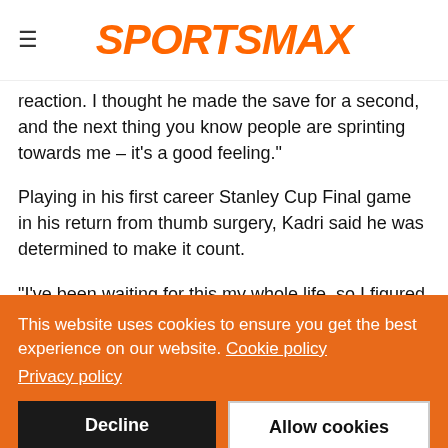SPORTSMAX
reaction. I thought he made the save for a second, and the next thing you know people are sprinting towards me – it's a good feeling."
Playing in his first career Stanley Cup Final game in his return from thumb surgery, Kadri said he was determined to make it count.
"I've been waiting for this my whole life, so I figured I'd stop waiting and just try to join the party," he said.
This website uses cookies to ensure you get the best experience on our website. Cookie policy
Privacy policy
Decline | Allow cookies